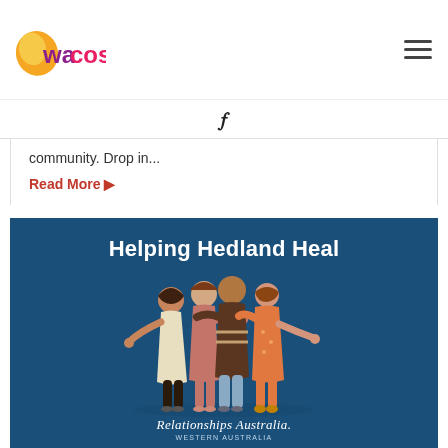[Figure (logo): WACOSS logo - stylized orange/yellow shape with 'wacoss' text in purple and pink]
community. Drop in...
Read More →
[Figure (illustration): Helping Hedland Heal - dark blue card with illustration of four people hugging viewed from behind, with Relationships Australia Western Australia logo at bottom]